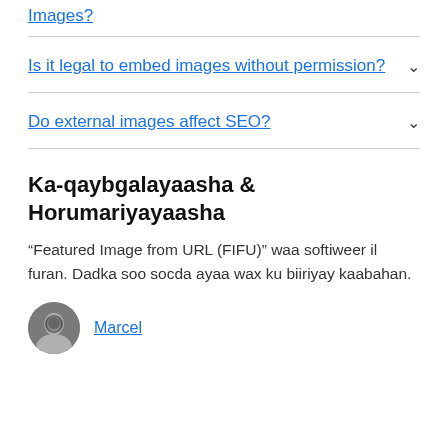Images?
Is it legal to embed images without permission?
Do external images affect SEO?
Ka-qaybgalayaasha & Horumariyayaasha
“Featured Image from URL (FIFU)” waa softiweer il furan. Dadka soo socda ayaa wax ku biiriyay kaabahan.
Marcel